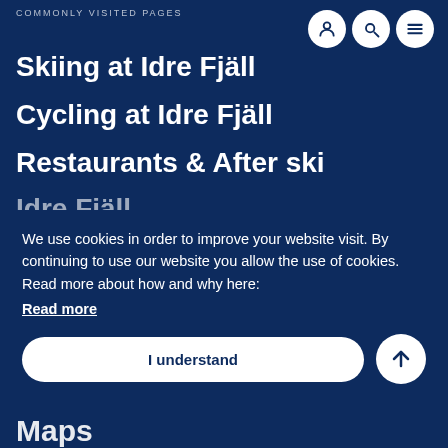COMMONLY VISITED PAGES
Skiing at Idre Fjäll
Cycling at Idre Fjäll
Restaurants & After ski
We use cookies in order to improve your website visit. By continuing to use our website you allow the use of cookies. Read more about how and why here:
Read more
I understand
Maps